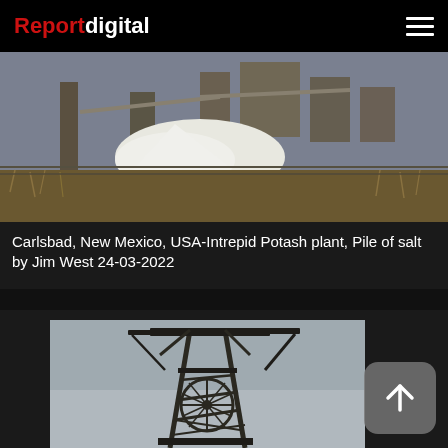Reportdigital
[Figure (photo): Industrial photograph of Intrepid Potash plant in Carlsbad, New Mexico, USA showing a pile of salt and industrial structures with dry grass in foreground]
Carlsbad, New Mexico, USA-Intrepid Potash plant, Pile of salt by Jim West 24-03-2022
[Figure (photo): Photograph of a mining headframe/winding tower structure against a grey overcast sky, dark industrial steel lattice structure with a wheel visible]